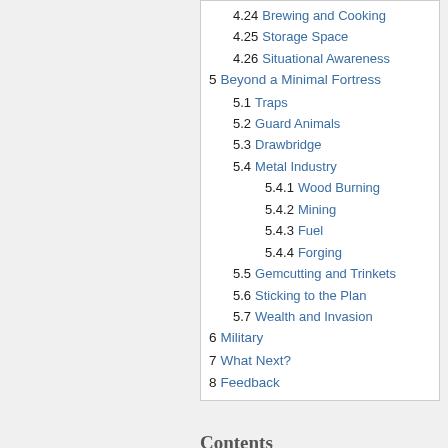4.24 Brewing and Cooking
4.25 Storage Space
4.26 Situational Awareness
5 Beyond a Minimal Fortress
5.1 Traps
5.2 Guard Animals
5.3 Drawbridge
5.4 Metal Industry
5.4.1 Wood Burning
5.4.2 Mining
5.4.3 Fuel
5.4.4 Forging
5.5 Gemcutting and Trinkets
5.6 Sticking to the Plan
5.7 Wealth and Invasion
6 Military
7 What Next?
8 Feedback
Contents